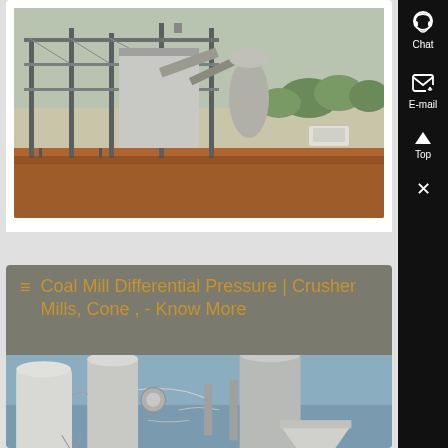[Figure (photo): Industrial mining/crushing plant facility with steel framework structure and equipment on red dirt ground, with trees in background and a white vehicle visible]
[Figure (photo): Coal mill or grinding mill industrial equipment with large white cylindrical silos, pipes, and cone-shaped grinder machinery at an industrial facility]
Coal Mill Differential Pressure | Crusher Mills, Cone , - Know More